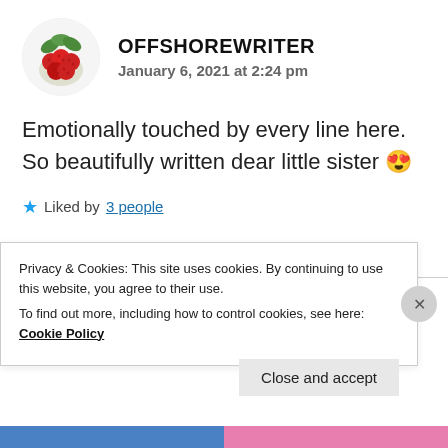[Figure (photo): Circular avatar image of red berries/raspberries with green leaves on a white background]
OFFSHOREWRITER
January 6, 2021 at 2:24 pm
Emotionally touched by every line here. So beautifully written dear little sister 😍
★ Liked by 3 people
REPLY
[Figure (photo): Circular avatar image in blue-gray for user HEMALATHA RAMESH]
HEMALATHA RAMESH
Privacy & Cookies: This site uses cookies. By continuing to use this website, you agree to their use.
To find out more, including how to control cookies, see here: Cookie Policy
Close and accept